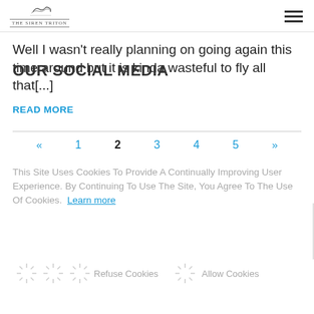The Siren Triton [logo/navigation]
Well I wasn't really planning on going again this time around but it is kinda wasteful to fly all that[...]
READ MORE
« 1 2 3 4 5 »
This Site Uses Cookies To Provide A Continually Improving User Experience. By Continuing To Use The Site, You Agree To The Use Of Cookies. Learn more
OUR SOCIAL MEDIA
Refuse Cookies    Allow Cookies